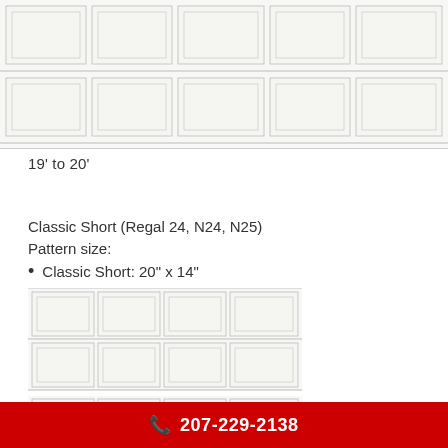[Figure (schematic): Garage door panel pattern showing two rows of 5 raised rectangular panels, Classic Long style, 19' to 20' width]
19' to 20'
Classic Short (Regal 24, N24, N25)
Pattern size:
Classic Short: 20" x 14"
[Figure (schematic): Garage door panel pattern showing four rows of 4 raised rectangular panels, Classic Short style]
207-229-2138